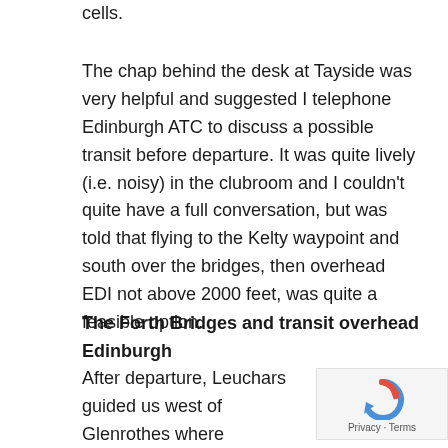cells.
The chap behind the desk at Tayside was very helpful and suggested I telephone Edinburgh ATC to discuss a possible transit before departure. It was quite lively (i.e. noisy) in the clubroom and I couldn't quite have a full conversation, but was told that flying to the Kelty waypoint and south over the bridges, then overhead EDI not above 2000 feet, was quite a feasible option.
The Forth Bridges and transit overhead Edinburgh
After departure, Leuchars guided us west of Glenrothes where paradropping was in progress. We might well have been more expeditious to route